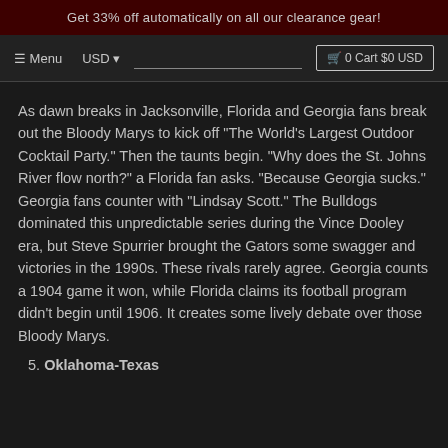Get 33% off automatically on all our clearance gear!
☰ Menu   USD ▾   🛒 0 Cart $0 USD
As dawn breaks in Jacksonville, Florida and Georgia fans break out the Bloody Marys to kick off "The World's Largest Outdoor Cocktail Party." Then the taunts begin. "Why does the St. Johns River flow north?" a Florida fan asks. "Because Georgia sucks." Georgia fans counter with "Lindsay Scott." The Bulldogs dominated this unpredictable series during the Vince Dooley era, but Steve Spurrier brought the Gators some swagger and victories in the 1990s. These rivals rarely agree. Georgia counts a 1904 game it won, while Florida claims its football program didn't begin until 1906. It creates some lively debate over those Bloody Marys.
5. Oklahoma-Texas